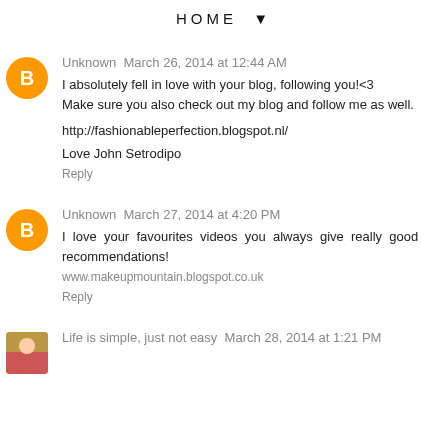HOME ▼
Unknown  March 26, 2014 at 12:44 AM
I absolutely fell in love with your blog, following you!<3
Make sure you also check out my blog and follow me as well.

http://fashionableperfection.blogspot.nl/

Love John Setrodipo

Reply
Unknown  March 27, 2014 at 4:20 PM
I love your favourites videos you always give really good recommendations!
www.makeupmountain.blogspot.co.uk

Reply
Life is simple, just not easy  March 28, 2014 at 1:21 PM